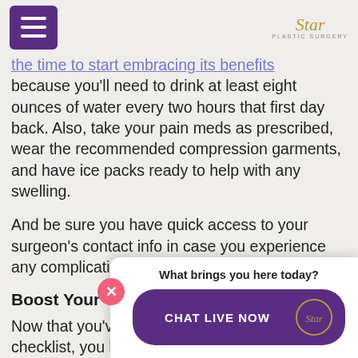Star Plastic Surgery
the time to start embracing its benefits because you'll need to drink at least eight ounces of water every two hours that first day back. Also, take your pain meds as prescribed, wear the recommended compression garments, and have ice packs ready to help with any swelling.
And be sure you have quick access to your surgeon's contact info in case you experience any complications.
Boost Your Confidence
Now that you've got the breast implants checklist, you know exactly what to